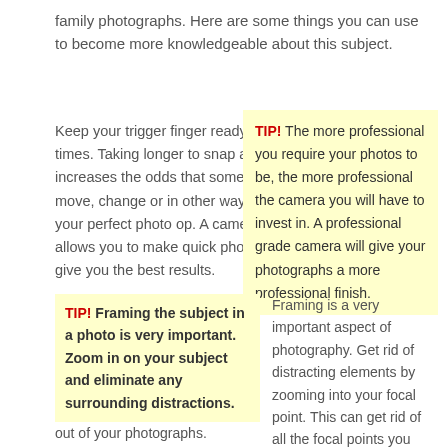family photographs. Here are some things you can use to become more knowledgeable about this subject.
Keep your trigger finger ready at all times. Taking longer to snap a photo increases the odds that something will move, change or in other ways ruin your perfect photo op. A camera which allows you to make quick photos will give you the best results.
TIP! The more professional you require your photos to be, the more professional the camera you will have to invest in. A professional grade camera will give your photographs a more professional finish.
TIP! Framing the subject in a photo is very important. Zoom in on your subject and eliminate any surrounding distractions.
Framing is a very important aspect of photography. Get rid of distracting elements by zooming into your focal point. This can get rid of all the focal points you don't want, and keep clutter out of your photographs.